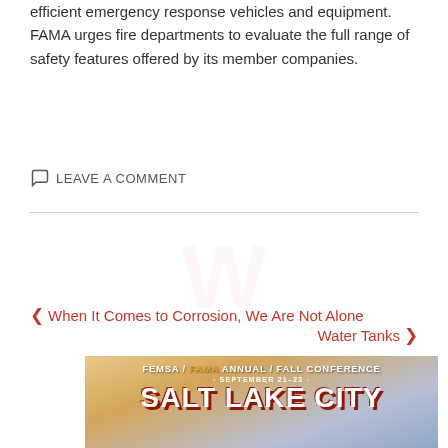efficient emergency response vehicles and equipment. FAMA urges fire departments to evaluate the full range of safety features offered by its member companies.
LEAVE A COMMENT
[Figure (illustration): Faded watermark/logo in the background between the divider and navigation links]
When It Comes to Corrosion, We Are Not Alone
Water Tanks
[Figure (illustration): FEMSA / FAMA Annual / Fall Conference banner for Salt Lake City, September 21-23, showing city skyline background with orange and white text]